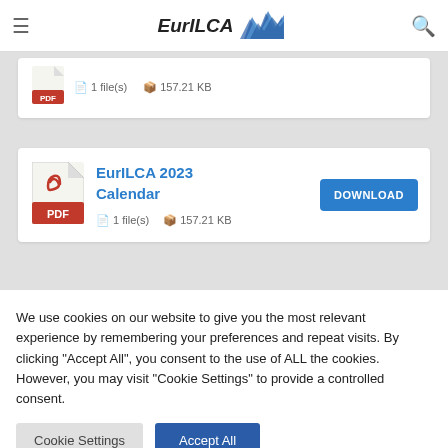EurILCA
[Figure (screenshot): Partial download card showing 1 file(s) and 157.21 KB]
[Figure (screenshot): EurILCA 2023 Calendar download card with PDF icon, 1 file(s), 157.21 KB, and DOWNLOAD button]
We use cookies on our website to give you the most relevant experience by remembering your preferences and repeat visits. By clicking "Accept All", you consent to the use of ALL the cookies. However, you may visit "Cookie Settings" to provide a controlled consent.
Cookie Settings  Accept All